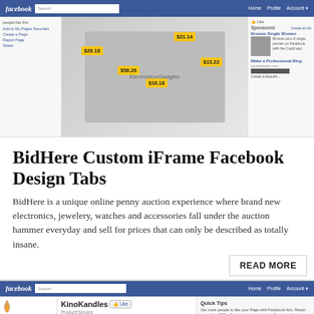[Figure (screenshot): Screenshot of a Facebook page for BidHere showing auction items (electronics, tablet, camera, phone) with price tags: $26.18, $56.26, $21.14, $16.18, $13.22. Right sidebar shows sponsored ads including 'Browse Single Women' and 'Make a Professional Blog'.]
BidHere Custom iFrame Facebook Design Tabs
BidHere is a unique online penny auction experience where brand new electronics, jewelery, watches and accessories fall under the auction hammer everyday and sell for prices that can only be described as totally insane.
READ MORE
[Figure (screenshot): Screenshot of a Facebook page for KinoKandles (Product/Service) showing the KinoKandles logo, a Facebook page layout with Quick Tips sidebar and Startup Caffeine ad section. The page shows 'Handmade' text on a bag image.]